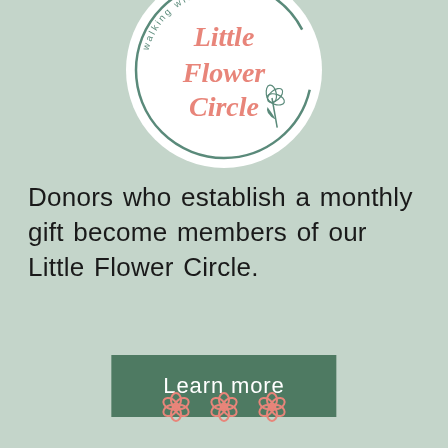[Figure (logo): Little Flower Circle circular logo with pink italic text reading 'Little Flower Circle' and curved text 'walking with purpose' around the top, with a small flower illustration, on white circular background with teal ring outline]
Donors who establish a monthly gift become members of our Little Flower Circle.
Learn more
[Figure (illustration): Three small pink flower icons in a row]